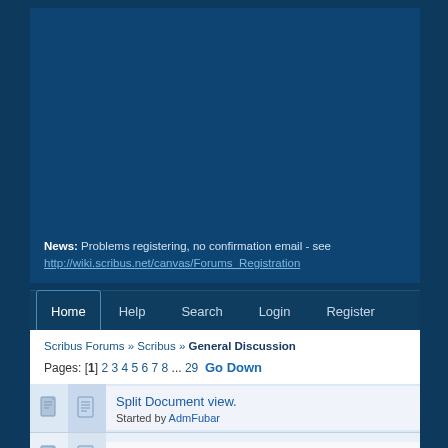[Figure (screenshot): Dark blue website header area for Scribus forums]
News: Problems registering, no confirmation email - see http://wiki.scribus.net/canvas/Forums_Registration
Home  Help  Search  Login  Register
Scribus Forums » Scribus » General Discussion
Pages: [1] 2 3 4 5 6 7 8 ... 29  Go Down
Split Document view.
Started by AdmFubar
Proof Print Question